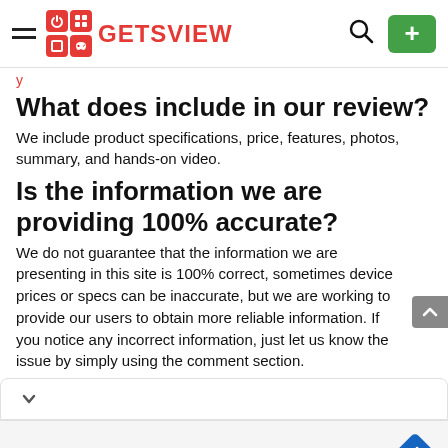GETSVIEW
y
What does include in our review?
We include product specifications, price, features, photos, summary, and hands-on video.
Is the information we are providing 100% accurate?
We do not guarantee that the information we are presenting in this site is 100% correct, sometimes device prices or specs can be inaccurate, but we are working to provide our users to obtain more reliable information. If you notice any incorrect information, just let us know the issue by simply using the comment section.
[Figure (screenshot): Ad banner showing sweetFrog logo with Dine-in, Takeout, Delivery options and navigation icon]